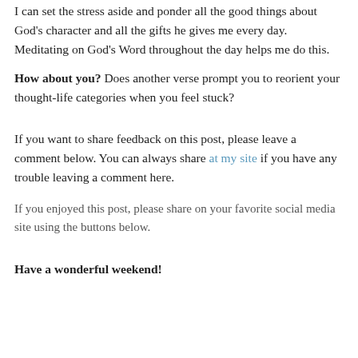I can set the stress aside and ponder all the good things about God's character and all the gifts he gives me every day. Meditating on God's Word throughout the day helps me do this.
How about you? Does another verse prompt you to reorient your thought-life categories when you feel stuck?
If you want to share feedback on this post, please leave a comment below. You can always share at my site if you have any trouble leaving a comment here.
If you enjoyed this post, please share on your favorite social media site using the buttons below.
Have a wonderful weekend!